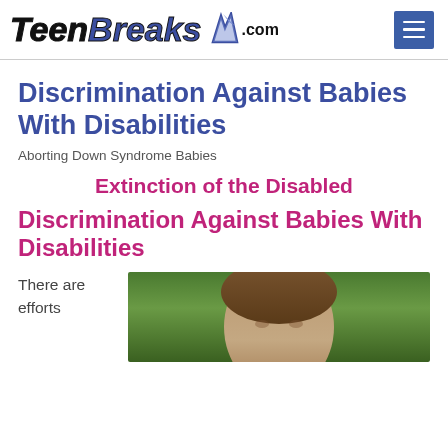TeenBreaks.com
Discrimination Against Babies With Disabilities
Aborting Down Syndrome Babies
Extinction of the Disabled
Discrimination Against Babies With Disabilities
There are efforts
[Figure (photo): Close-up photo of a young child or baby with brown hair against a green background]